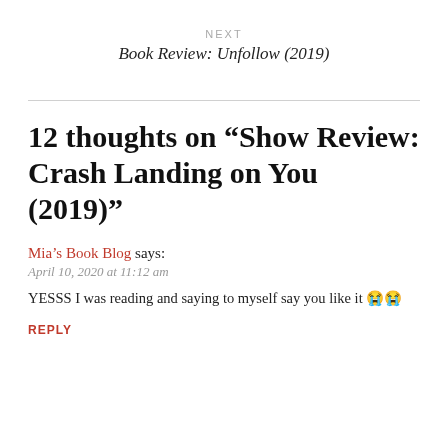NEXT
Book Review: Unfollow (2019)
12 thoughts on “Show Review: Crash Landing on You (2019)”
Mia’s Book Blog says:
April 10, 2020 at 11:12 am
YESSS I was reading and saying to myself say you like it 😭😭
REPLY